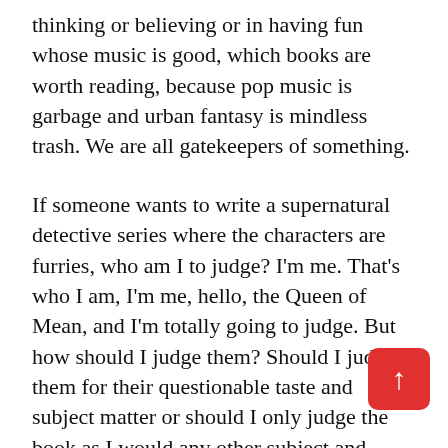thinking or believing or in having fun whose music is good, which books are worth reading, because pop music is garbage and urban fantasy is mindless trash. We are all gatekeepers of something.
If someone wants to write a supernatural detective series where the characters are furries, who am I to judge? I'm me. That's who I am, I'm me, hello, the Queen of Mean, and I'm totally going to judge. But how should I judge them? Should I judge them for their questionable taste and subject matter or should I only judge the book as I would any other subject and decide if it was well-written, with good plot and characterization and arc? Oh hell, you know, I am totally judging it on subject matter because there is no way I am ever going to read